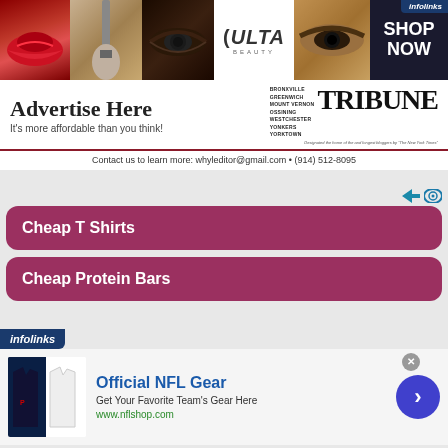[Figure (photo): Beauty/makeup banner ad with panels showing lips with red lipstick, makeup brush, eye with smoky eyeshadow, ULTA Beauty logo, dramatic eye makeup, and SHOP NOW text. Infolinks badge in corner.]
[Figure (infographic): Advertise Here ad for a local Tribune newspaper. Text: Advertise Here / It's more affordable than you think! with Tribune logo listing Bronxville, Greenwich, Mount Vernon, Ossining, Westchester, Yonkers, Yorktown cities.]
Contact us to learn more: whyleditor@gmail.com • (914) 512-8095
[Figure (screenshot): Ad section with two dark pink/mauve rounded button-style ads: 'Cheap T Shirts' and 'Cheap Protein Bars' with infolinks icons]
[Figure (screenshot): Infolinks badge bar followed by NFL gear advertisement. Title: Official NFL Gear. Description: Get Your Favorite Team's Gear Here. URL: www.nflshop.com. Shows football jerseys image and blue arrow button. Close X button visible.]